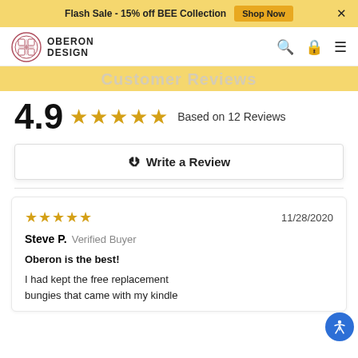Flash Sale - 15% off BEE Collection  Shop Now  ×
[Figure (logo): Oberon Design logo with decorative circular emblem and text 'OBERON DESIGN']
Customer Reviews
4.9 ★★★★★ Based on 12 Reviews
✎ Write a Review
★★★★★  11/28/2020
Steve P.  Verified Buyer
Oberon is the best!
I had kept the free replacement bungies that came with my kindle